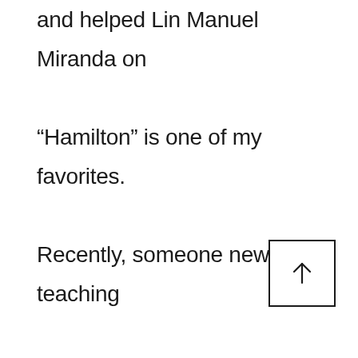and helped Lin Manuel Miranda on “Hamilton” is one of my favorites. Recently, someone new to teaching asked her for her secrets to success. She responded “let your interest in and passion for your subject shine through. Anecdotes that stick in your head? They’ll probably do the same for your class. Focus on people and the ch[oices] they did and didn’t have.” That Tw[eet] really struck a chord for me, because it’s something I’ve always tried to do. I love
[Figure (other): Upward arrow icon inside a square box]